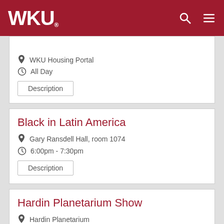WKU
WKU Housing Portal
All Day
Description
Black in Latin America
Gary Ransdell Hall, room 1074
6:00pm - 7:30pm
Description
Hardin Planetarium Show
Hardin Planetarium
7:00pm - 8:00pm
Description